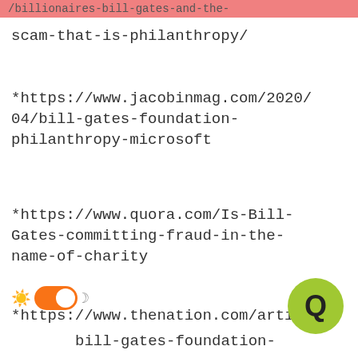/billionaires-bill-gates-and-the-scam-that-is-philanthropy/
*https://www.jacobinmag.com/2020/04/bill-gates-foundation-philanthropy-microsoft
*https://www.quora.com/Is-Bill-Gates-committing-fraud-in-the-name-of-charity
*https://www.thenation.com/arti...so...bill-gates-foundation-philanthropy/